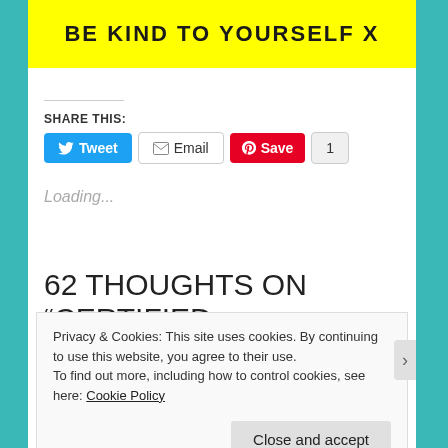[Figure (illustration): Yellow banner with bold text 'BE KIND TO YOURSELF X' in dark letters on bright yellow background]
SHARE THIS:
[Figure (screenshot): Social share buttons: Tweet (blue), Email (white/grey), Save (red/Pinterest), and count badge showing 1]
Loading...
62 THOUGHTS ON “CERTIFIED
Privacy & Cookies: This site uses cookies. By continuing to use this website, you agree to their use.
To find out more, including how to control cookies, see here: Cookie Policy
Close and accept